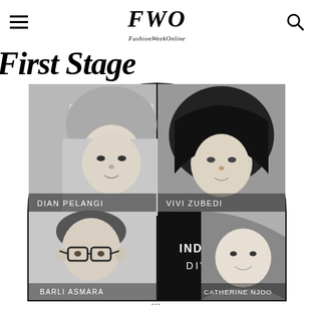FWO FashionWeekOnline
First Stage
[Figure (photo): Semicircle collage of four fashion designers/personalities in black and white: top-left Dian Pelangi (woman in hijab), top-right Vivi Zubedi (woman in dark hijab), bottom-left Barli Asmara (man with glasses), bottom-right Catherine Njoo (woman), with 'INDONESIAN DIVERSITY' text in center black panel.]